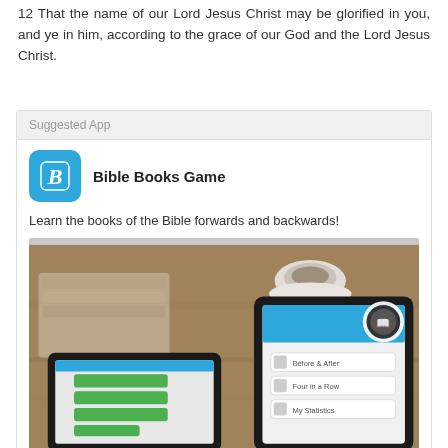12 That the name of our Lord Jesus Christ may be glorified in you, and ye in him, according to the grace of our God and the Lord Jesus Christ.
Suggested App
Bible Books Game
Learn the books of the Bible forwards and backwards!
[Figure (screenshot): Screenshot of the Bible Books Game app shown on two tablets on a wooden table with a coffee cup in the background.]
Learn More